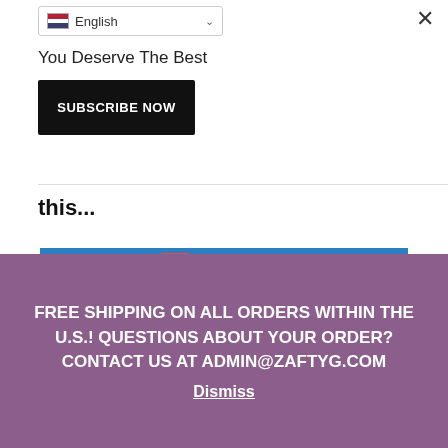English
You Deserve The Best
SUBSCRIBE NOW
this...
[Figure (photo): Woman with glasses wearing a yellow top, lying on a red carpet surrounded by red plastic chairs; indoor setting with blue background]
FREE SHIPPING ON ALL ORDERS WITHIN THE U.S.! QUESTIONS ABOUT YOUR ORDER? CONTACT US AT ADMIN@ZAFTYG.COM
Dismiss